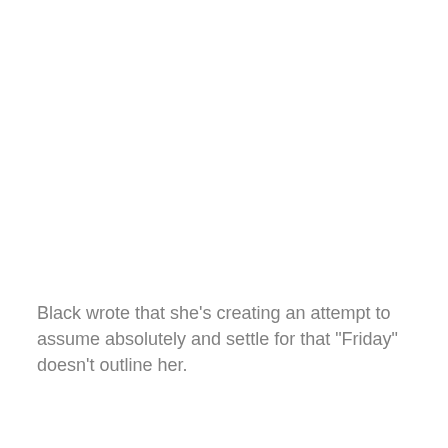Black wrote that she's creating an attempt to assume absolutely and settle for that "Friday" doesn't outline her.